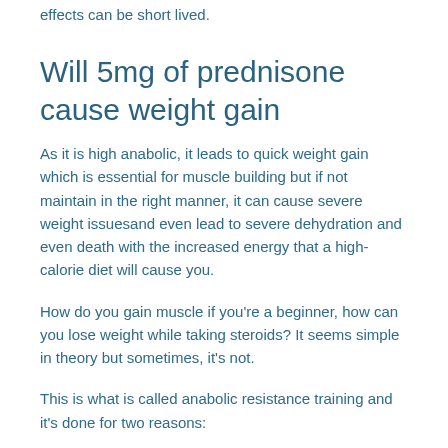effects can be short lived.
Will 5mg of prednisone cause weight gain
As it is high anabolic, it leads to quick weight gain which is essential for muscle building but if not maintain in the right manner, it can cause severe weight issuesand even lead to severe dehydration and even death with the increased energy that a high-calorie diet will cause you.
How do you gain muscle if you're a beginner, how can you lose weight while taking steroids? It seems simple in theory but sometimes, it's not.
This is what is called anabolic resistance training and it's done for two reasons: